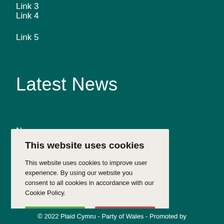Link 3
Link 4
Link 5
Latest News
News
This website uses cookies
This website uses cookies to improve user experience. By using our website you consent to all cookies in accordance with our Cookie Policy.
I agree
I disagree
Read more
© 2022 Plaid Cymru - Party of Wales - Promoted by